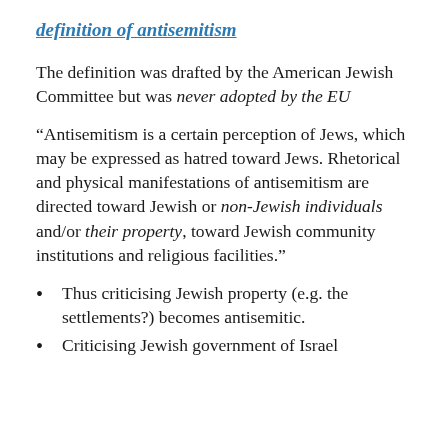definition of antisemitism
The definition was drafted by the American Jewish Committee but was never adopted by the EU
“Antisemitism is a certain perception of Jews, which may be expressed as hatred toward Jews. Rhetorical and physical manifestations of antisemitism are directed toward Jewish or non-Jewish individuals and/or their property, toward Jewish community institutions and religious facilities.”
Thus criticising Jewish property (e.g. the settlements?) becomes antisemitic.
Criticising Jewish government of Israel…